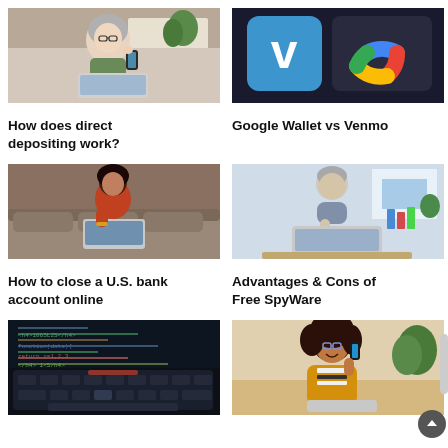[Figure (photo): Older woman with glasses working on laptop while holding smartphone, home office setting]
How does direct depositing work?
[Figure (photo): Payment app logos: Venmo (blue V) and Google Wallet (colorful symbol) on dark background]
Google Wallet vs Venmo
[Figure (photo): Young woman sitting on sofa using laptop, wearing orange top]
How to close a U.S. bank account online
[Figure (photo): Middle-aged man with hand on chin thinking while looking at laptop in bright room]
Advantages & Cons of Free SpyWare
[Figure (photo): Close-up of keyboard with code/HTML text visible on screen, dark blue tech background]
[Figure (photo): Young woman with curly hair smiling and talking on phone, wearing yellow cardigan, laptop open]